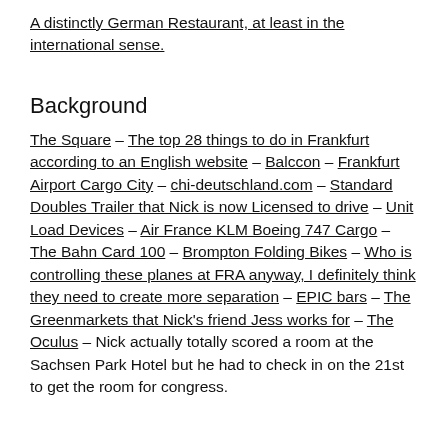A distinctly German Restaurant, at least in the international sense.
Background
The Square – The top 28 things to do in Frankfurt according to an English website – Balccon – Frankfurt Airport Cargo City – chi-deutschland.com – Standard Doubles Trailer that Nick is now Licensed to drive – Unit Load Devices – Air France KLM Boeing 747 Cargo – The Bahn Card 100 – Brompton Folding Bikes – Who is controlling these planes at FRA anyway, I definitely think they need to create more separation – EPIC bars – The Greenmarkets that Nick's friend Jess works for – The Oculus – Nick actually totally scored a room at the Sachsen Park Hotel but he had to check in on the 21st to get the room for congress.